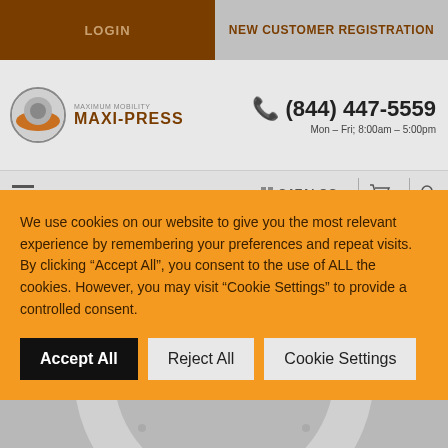LOGIN | NEW CUSTOMER REGISTRATION
[Figure (logo): Maxi-Press logo with circular icon and brand name]
(844) 447-5559
Mon – Fri; 8:00am – 5:00pm
[Figure (photo): Product photo showing a large circular press ring on grey background]
We use cookies on our website to give you the most relevant experience by remembering your preferences and repeat visits. By clicking “Accept All”, you consent to the use of ALL the cookies. However, you may visit “Cookie Settings” to provide a controlled consent.
Accept All | Reject All | Cookie Settings